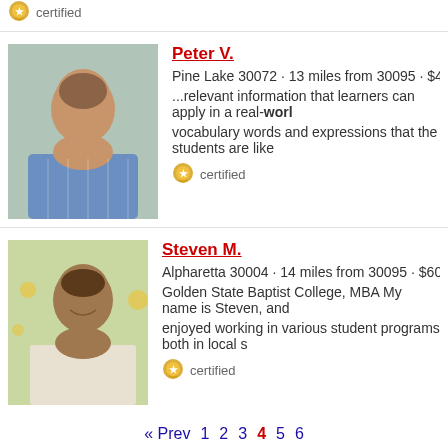[Figure (photo): Certified badge icon with 'certified' text at top of page]
[Figure (photo): Profile photo of Peter V., a middle-aged man in plaid shirt]
Peter V.
Pine Lake 30072 · 13 miles from 30095 · $40/hour · teaches...
...relevant information that learners can apply in a real-world... vocabulary words and expressions that the students are like...
certified
[Figure (photo): Profile photo of Steven M., a young man smiling outdoors]
Steven M.
Alpharetta 30004 · 14 miles from 30095 · $60/hour · teache...
Golden State Baptist College, MBA My name is Steven, and... enjoyed working in various student programs both in local s...
certified
« Prev  1  2  3  4  5  6
About Us | Blog | Find Tutors Near You | Be a Tutor | Stay
How it Works? | Posts | find by Subject | Be a Tutor
Pricing | find by City | Job Board
FAQ | Search | Login
Contact Us